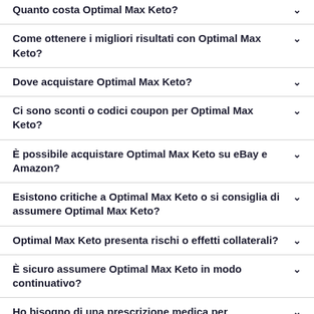Quanto costa Optimal Max Keto?
Come ottenere i migliori risultati con Optimal Max Keto?
Dove acquistare Optimal Max Keto?
Ci sono sconti o codici coupon per Optimal Max Keto?
È possibile acquistare Optimal Max Keto su eBay e Amazon?
Esistono critiche a Optimal Max Keto o si consiglia di assumere Optimal Max Keto?
Optimal Max Keto presenta rischi o effetti collaterali?
È sicuro assumere Optimal Max Keto in modo continuativo?
Ho bisogno di una prescrizione medica per